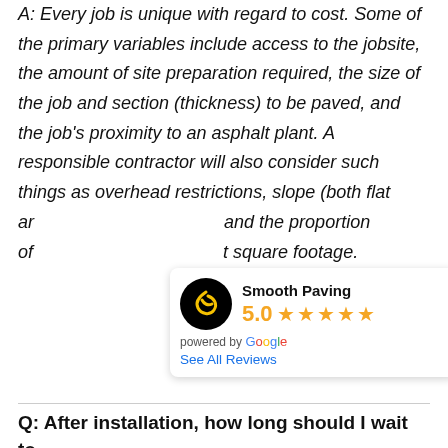A: Every job is unique with regard to cost. Some of the primary variables include access to the jobsite, the amount of site preparation required, the size of the job and section (thickness) to be paved, and the job's proximity to an asphalt plant. A responsible contractor will also consider such things as overhead restrictions, slope (both flat ar[...] and the proportion of [...] t square footage.
[Figure (other): Smooth Paving Google review widget showing 5.0 star rating powered by Google with a See All Reviews link and the Smooth Paving logo (black circle with road/path icon)]
Q: After installation, how long should I wait to